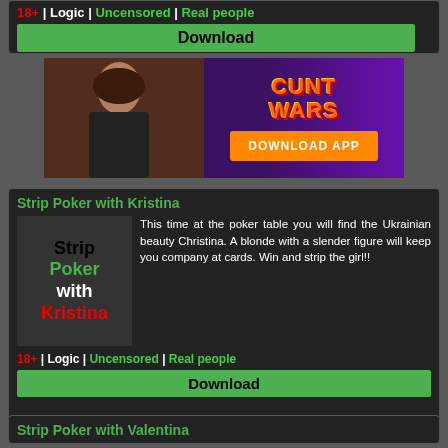18+ | Logic | Uncensored | Real people
Download
[Figure (illustration): Adult game advertisement banner for Cunt Wars with anime-style character and DOWNLOAD APP button]
Strip Poker with Kristina
[Figure (illustration): Strip Poker with Kristina game thumbnail showing blonde woman]
This time at the poker table you will find the Ukrainian beauty Christina. A blonde with a slender figure will keep you company at cards. Win and strip the girl!!
18+ | Logic | Uncensored | Real people
Download
Strip Poker with Valentina